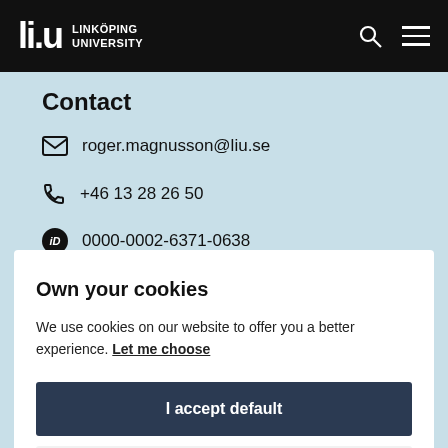LiU Linköping University
Contact
roger.magnusson@liu.se
+46 13 28 26 50
0000-0002-6371-0638
Own your cookies
We use cookies on our website to offer you a better experience. Let me choose
I accept default
Only necessary